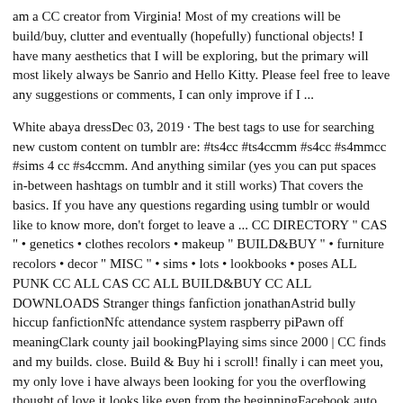am a CC creator from Virginia! Most of my creations will be build/buy, clutter and eventually (hopefully) functional objects! I have many aesthetics that I will be exploring, but the primary will most likely always be Sanrio and Hello Kitty. Please feel free to leave any suggestions or comments, I can only improve if I ...
White abaya dressDec 03, 2019 · The best tags to use for searching new custom content on tumblr are: #ts4cc #ts4ccmm #s4cc #s4mmcc #sims 4 cc #s4ccmm. And anything similar (yes you can put spaces in-between hashtags on tumblr and it still works) That covers the basics. If you have any questions regarding using tumblr or would like to know more, don't forget to leave a ... CC DIRECTORY " CAS " • genetics • clothes recolors • makeup " BUILD&BUY " • furniture recolors • decor " MISC " • sims • lots • lookbooks • poses ALL PUNK CC ALL CAS CC ALL BUILD&BUY CC ALL DOWNLOADS Stranger things fanfiction jonathanAstrid bully hiccup fanfictionNfc attendance system raspberry piPawn off meaningClark county jail bookingPlaying sims since 2000 | CC finds and my builds. close. Build & Buy hi i scroll! finally i can meet you, my only love i have always been looking for you the overflowing thought of love it looks like even from the beginningFacebook auto followers 5000Recolor of one of the new Dream Home Decorator bunk beds! :) 10 patterns and 5 wood colors! The top bunk bed is base game compatible, so everyone can use it!!!!:D The single bed still require the Dream Home Decorator pack. I did countless of tries in the past 3 days to